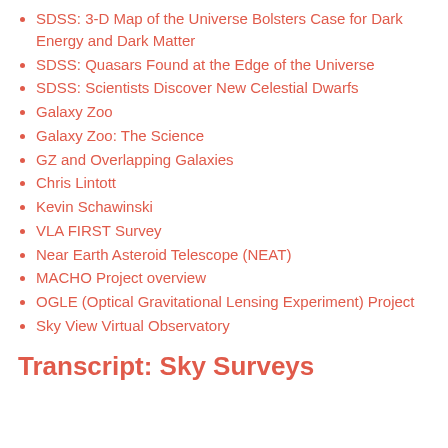SDSS:  3-D Map of the Universe Bolsters Case for Dark Energy and Dark Matter
SDSS:  Quasars Found at the Edge of the Universe
SDSS:  Scientists Discover New Celestial Dwarfs
Galaxy Zoo
Galaxy Zoo:  The Science
GZ and Overlapping Galaxies
Chris Lintott
Kevin Schawinski
VLA FIRST Survey
Near Earth Asteroid Telescope (NEAT)
MACHO Project overview
OGLE (Optical Gravitational Lensing Experiment) Project
Sky View Virtual Observatory
Transcript: Sky Surveys